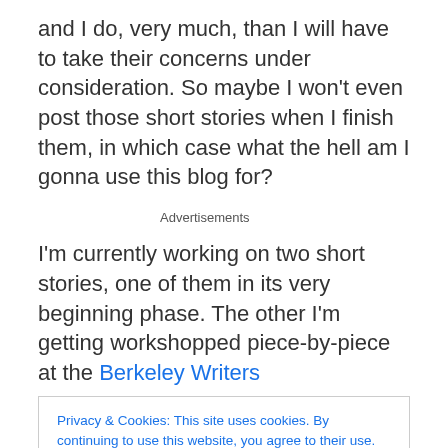and I do, very much, than I will have to take their concerns under consideration. So maybe I won't even post those short stories when I finish them, in which case what the hell am I gonna use this blog for?
Advertisements
I'm currently working on two short stories, one of them in its very beginning phase. The other I'm getting workshopped piece-by-piece at the Berkeley Writers
Privacy & Cookies: This site uses cookies. By continuing to use this website, you agree to their use.
To find out more, including how to control cookies, see here: Cookie Policy
Close and accept
who try it turns into something of a fantasy. It's an